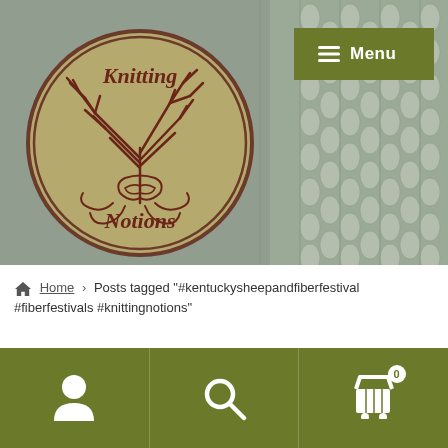[Figure (screenshot): Website header with knitted fabric texture background, Knitting Notions circular logo on left, and olive green Menu button on right]
🏠 Home › Posts tagged "#kentuckysheepandfiberfestival #fiberfestivals #knittingnotions"
[Figure (other): Bottom navigation bar with user icon, search icon, and shopping cart icon with badge showing 0]